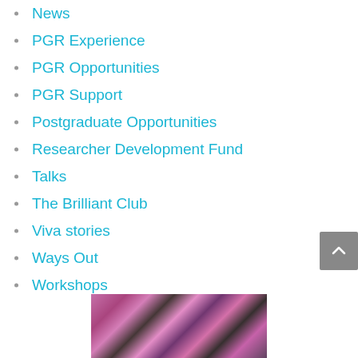News
PGR Experience
PGR Opportunities
PGR Support
Postgraduate Opportunities
Researcher Development Fund
Talks
The Brilliant Club
Viva stories
Ways Out
Workshops
[Figure (photo): Partial view of a photograph with pink and dark tones, showing a person, located at the bottom center of the page]